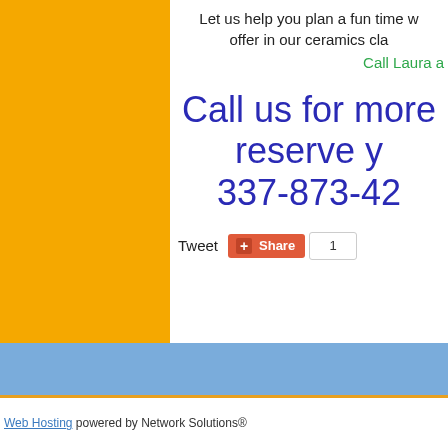Let us help you plan a fun time w offer in our ceramics cla
Call Laura a
Call us for more reserve y 337-873-42
Tweet
[Figure (screenshot): Google+ Share button with count of 1]
Web Hosting powered by Network Solutions®